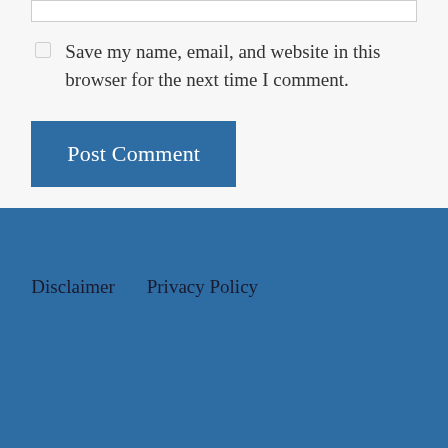Save my name, email, and website in this browser for the next time I comment.
Post Comment
Disclaimer   Privacy Policy